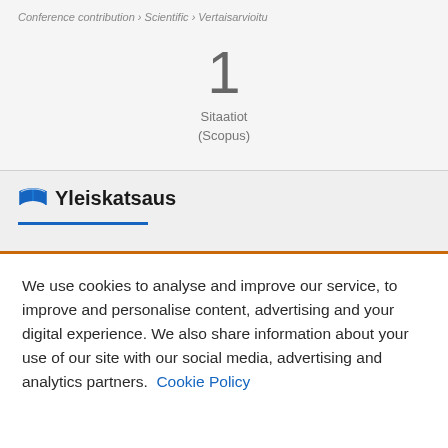Conference contribution › Scientific › Vertaisarvioitu
1
Sitaatiot
(Scopus)
Yleiskatsaus
We use cookies to analyse and improve our service, to improve and personalise content, advertising and your digital experience. We also share information about your use of our site with our social media, advertising and analytics partners.  Cookie Policy